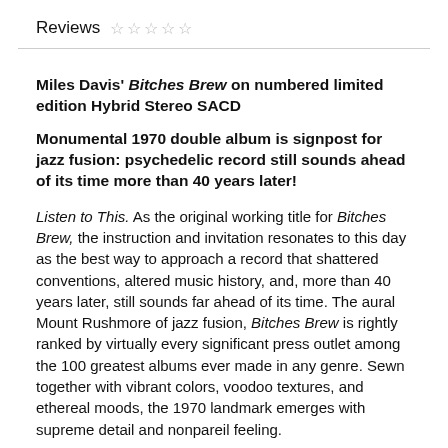Reviews ☆ ☆ ☆ ☆ ☆
Miles Davis' Bitches Brew on numbered limited edition Hybrid Stereo SACD
Monumental 1970 double album is signpost for jazz fusion: psychedelic record still sounds ahead of its time more than 40 years later!
Listen to This. As the original working title for Bitches Brew, the instruction and invitation resonates to this day as the best way to approach a record that shattered conventions, altered music history, and, more than 40 years later, still sounds far ahead of its time. The aural Mount Rushmore of jazz fusion, Bitches Brew is rightly ranked by virtually every significant press outlet among the 100 greatest albums ever made in any genre. Sewn together with vibrant colors, voodoo textures, and ethereal moods, the 1970 landmark emerges with supreme detail and nonpareil feeling.